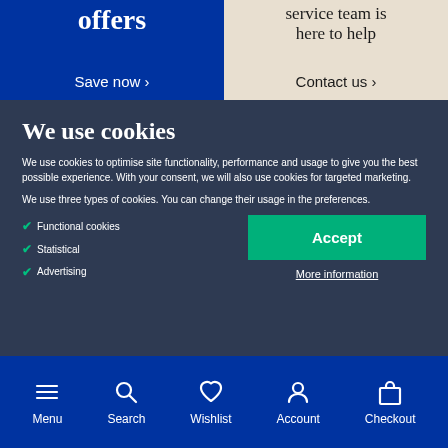[Figure (screenshot): Top banner split into two halves: left side blue with 'offers' heading and 'Save now >' link; right side beige with 'service team is here to help' heading and 'Contact us >' link]
We use cookies
We use cookies to optimise site functionality, performance and usage to give you the best possible experience. With your consent, we will also use cookies for targeted marketing.
We use three types of cookies. You can change their usage in the preferences.
Functional cookies
Statistical
Advertising
Accept
More information
Menu | Search | Wishlist | Account | Checkout